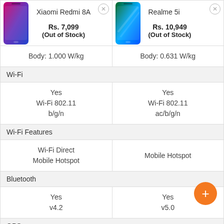| Xiaomi Redmi 8A | Realme 5i |
| --- | --- |
| Rs. 7,099 (Out of Stock) | Rs. 10,949 (Out of Stock) |
| Body: 1.000 W/kg | Body: 0.631 W/kg |
| Wi-Fi |  |
| Yes
Wi-Fi 802.11
b/g/n | Yes
Wi-Fi 802.11
ac/b/g/n |
| Wi-Fi Features |  |
| Wi-Fi Direct
Mobile Hotspot | Mobile Hotspot |
| Bluetooth |  |
| Yes
v4.2 | Yes
v5.0 |
| GPS |  |
| Yes with A-GPS | Yes with A-GPS |